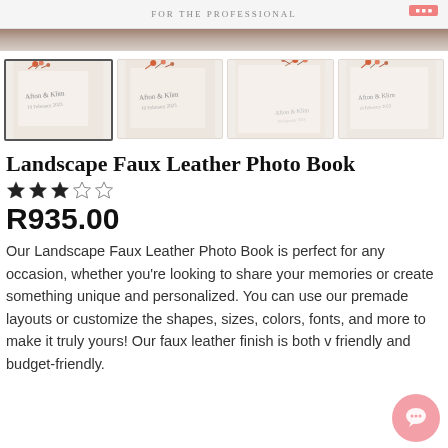FOR THE PROFESSIONAL
[Figure (photo): Four thumbnail photos of a faux leather photo book with dried floral decoration and handwritten text on the cover]
Landscape Faux Leather Photo Book
★★★☆☆
R935.00
Our Landscape Faux Leather Photo Book is perfect for any occasion, whether you're looking to share your memories or create something unique and personalized. You can use our premade layouts or customize the shapes, sizes, colors, fonts, and more to make it truly yours! Our faux leather finish is both v friendly and budget-friendly.